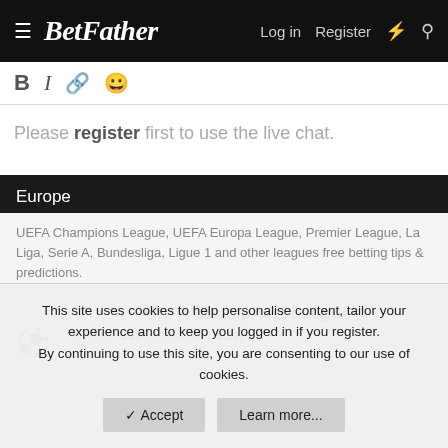BetFather — Login Register
Please register first to use the live chat.
Europe
UEFA Champions League, UEFA Europa League, Premier League, La Liga, Serie A, Bundesliga, Ligue 1 and other leagues free betting tips & predictions.
UEFA Champions League
Threads: 218 Messages: 1.1K
This site uses cookies to help personalise content, tailor your experience and to keep you logged in if you register. By continuing to use this site, you are consenting to our use of cookies.